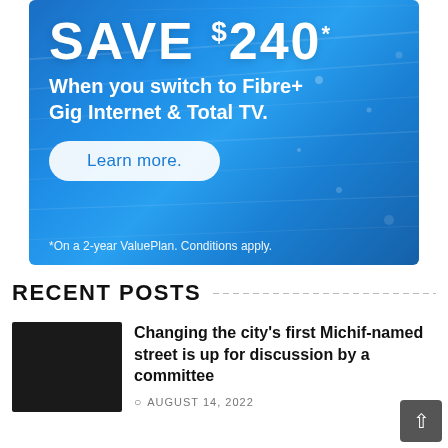[Figure (other): Advertisement banner with blue gradient background showing 'SAVE $240* When you switch to Fibre+ Gig Internet & Total TV.' with a 'Learn more.' button and footnote '*On a 2-year ValuePlan. Conditions apply.']
RECENT POSTS
[Figure (photo): Small dark/black thumbnail image for the recent post]
Changing the city's first Michif-named street is up for discussion by a committee
AUGUST 14, 2022